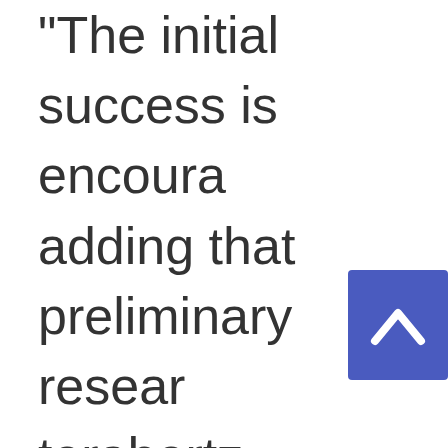"The initial success is encouraging, adding that preliminary research terahertz telescope has been c Electromagnetic radiation trav in the form of light waves and wavelength. In order of decrea there are radio waves, [scroll button] w visible light, ultraviolet, X-ray...